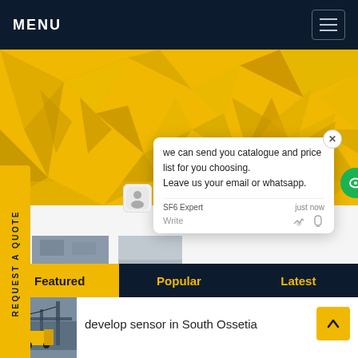MENU
[Figure (photo): Yellow geometric low-poly background image used as hero banner]
REQUEST A QUOTE
[Figure (screenshot): Chat popup with message: we can send you catalogue and price list for you choosing. Leave us your email or whatsapp. SF6 Expert just now. Write.]
Featured  Popular  Latest
develop sensor in South Ossetia
[Figure (photo): Thumbnail image of electrical substation with yellow crane/truck]